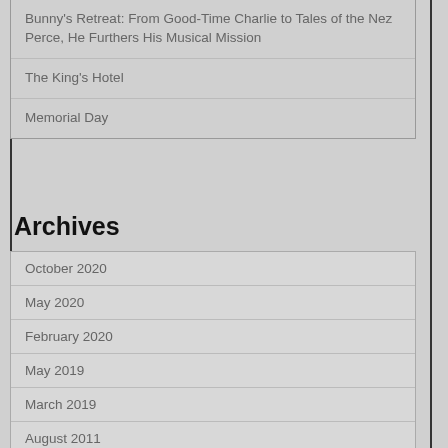Bunny's Retreat: From Good-Time Charlie to Tales of the Nez Perce, He Furthers His Musical Mission
The King's Hotel
Memorial Day
Archives
October 2020
May 2020
February 2020
May 2019
March 2019
August 2011
June 2010